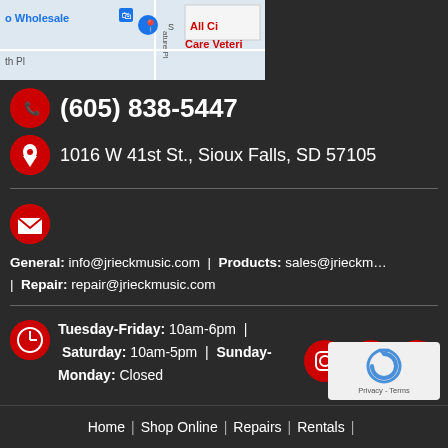[Figure (screenshot): Partial Google Maps screenshot showing local area with 'o Wholesale', 'th Pl', 'All Ci', 'Care Veteri' labels visible]
(605) 838-5447
1016 W 41st St., Sioux Falls, SD 57105
General: info@jrieckmusic.com | Products: sales@jrieckmusic... | Repair: repair@jrieckmusic.com
Tuesday-Friday: 10am-6pm | Saturday: 10am-5pm | Sunday-Monday: Closed
[Figure (logo): reCAPTCHA logo with Privacy - Terms text]
Home | Shop Online | Repairs | Rentals |